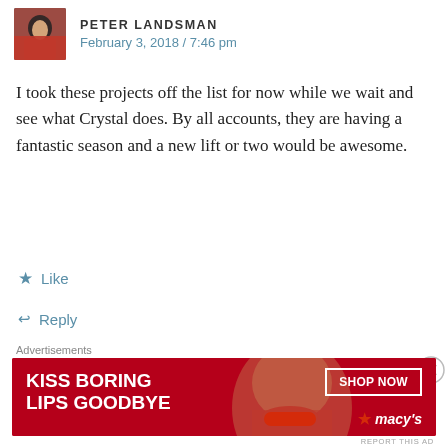PETER LANDSMAN
February 3, 2018 / 7:46 pm
I took these projects off the list for now while we wait and see what Crystal does. By all accounts, they are having a fantastic season and a new lift or two would be awesome.
★ Like
↩ Reply
Advertisements
[Figure (screenshot): WordPress app advertisement: 'Build a writing habit. Post on the go.' with GET THE APP button and WordPress logo]
REPORT THIS AD
Advertisements
[Figure (screenshot): Macy's advertisement: 'KISS BORING LIPS GOODBYE' with woman's face and SHOP NOW button]